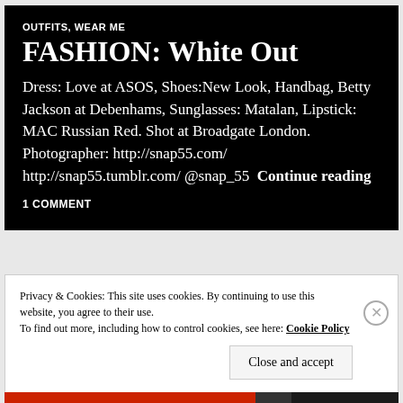OUTFITS, WEAR ME
FASHION: White Out
Dress: Love at ASOS, Shoes:New Look, Handbag, Betty Jackson at Debenhams, Sunglasses: Matalan, Lipstick: MAC Russian Red. Shot at Broadgate London.
Photographer: http://snap55.com/  http://snap55.tumblr.com/ @snap_55  Continue reading
1 COMMENT
Privacy & Cookies: This site uses cookies. By continuing to use this website, you agree to their use.
To find out more, including how to control cookies, see here: Cookie Policy
Close and accept